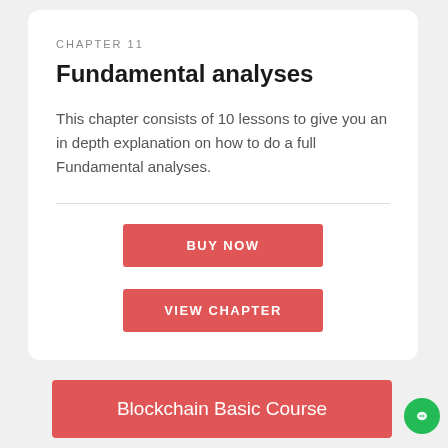CHAPTER 11
Fundamental analyses
This chapter consists of 10 lessons to give you an in depth explanation on how to do a full Fundamental analyses.
BUY NOW
VIEW CHAPTER
Blockchain Basic Course